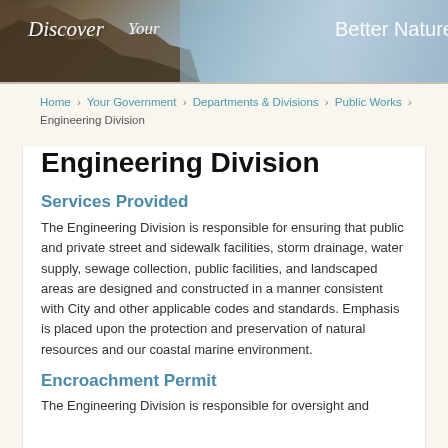[Figure (photo): City website header banner with mountain/rock landscape photo and text 'Discover Your Better Nature']
Home › Your Government › Departments & Divisions › Public Works › Engineering Division
Engineering Division
Services Provided
The Engineering Division is responsible for ensuring that public and private street and sidewalk facilities, storm drainage, water supply, sewage collection, public facilities, and landscaped areas are designed and constructed in a manner consistent with City and other applicable codes and standards. Emphasis is placed upon the protection and preservation of natural resources and our coastal marine environment.
Encroachment Permit
The Engineering Division is responsible for oversight and